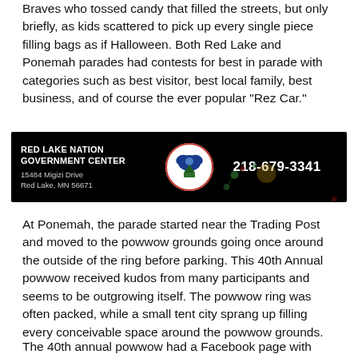Braves who tossed candy that filled the streets, but only briefly, as kids scattered to pick up every single piece filling bags as if Halloween. Both Red Lake and Ponemah parades had contests for best in parade with categories such as best visitor, best local family, best business, and of course the ever popular "Rez Car."
[Figure (infographic): Advertisement banner for Red Lake Nation Government Center on black background with logo, phone number 218-679-3341, address 15484 Migizi Drive, Red Lake, MN 56671, and decorative floral design.]
At Ponemah, the parade started near the Trading Post and moved to the powwow grounds going once around the outside of the ring before parking. This 40th Annual powwow received kudos from many participants and seems to be outgrowing itself. The powwow ring was often packed, while a small tent city sprang up filling every conceivable space around the powwow grounds.
The 40th annual powwow had a Facebook page with